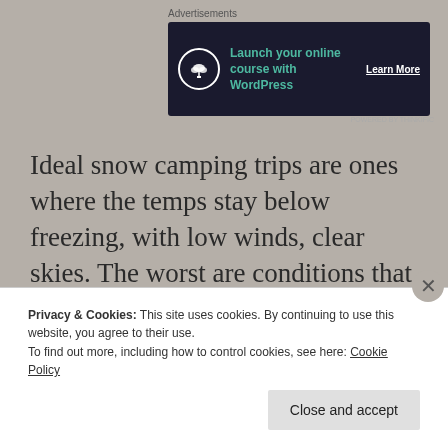Advertisements
[Figure (illustration): Advertisement banner: dark navy background with a bonsai tree icon in a white circle, green bold text 'Launch your online course with WordPress', and white underlined text 'Learn More']
Ideal snow camping trips are ones where the temps stay below freezing, with low winds, clear skies. The worst are conditions that creep into the mid-upper 30's with either rain or mixed precipitation (this is the worst possible backpacking weather in my opinion). For your first time, avoid big snowstorms, high winds, SUPER cold temps, and temps above freezing (combined
Privacy & Cookies: This site uses cookies. By continuing to use this website, you agree to their use.
To find out more, including how to control cookies, see here: Cookie Policy
Close and accept